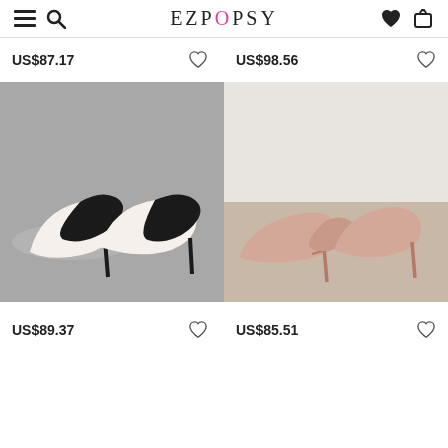EZPOPSY
US$87.17
US$98.56
[Figure (photo): Two black and white pointed-toe high heel pumps on a grey surface with a magazine in the background]
[Figure (photo): Two nude/blush pink pointed-toe stiletto high heel pumps on a light wood floor against a white background]
US$89.37
US$85.51